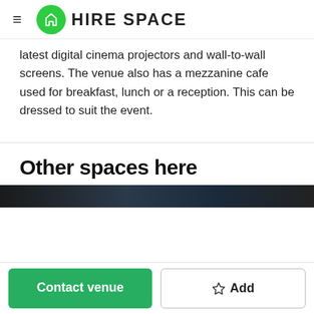HIRE SPACE
latest digital cinema projectors and wall-to-wall screens. The venue also has a mezzanine cafe used for breakfast, lunch or a reception. This can be dressed to suit the event.
Other spaces here
[Figure (photo): Dark preview image strip of a venue space]
Contact venue
Add